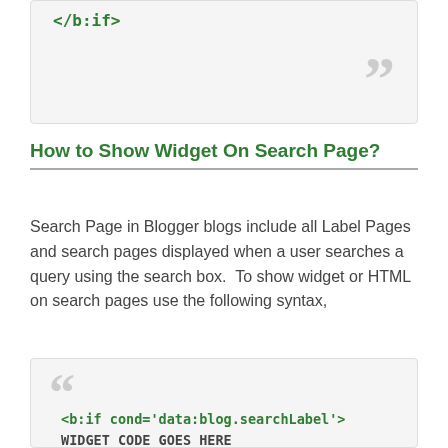</b:if>
How to Show Widget On Search Page?
Search Page in Blogger blogs include all Label Pages and search pages displayed when a user searches a query using the search box.  To show widget or HTML on search pages use the following syntax,
<b:if cond='data:blog.searchLabel'>
WIDGET CODE GOES HERE
</b:if>